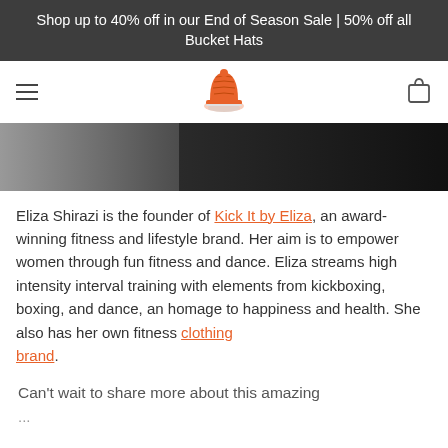Shop up to 40% off in our End of Season Sale | 50% off all Bucket Hats
[Figure (logo): Orange knit hat logo icon for a clothing/fitness brand]
[Figure (photo): Partial photo of a person against a dark background, cropped at the top of the page]
Eliza Shirazi is the founder of Kick It by Eliza, an award-winning fitness and lifestyle brand. Her aim is to empower women through fun fitness and dance. Eliza streams high intensity interval training with elements from kickboxing, boxing, and dance, an homage to happiness and health. She also has her own fitness clothing brand.
Can't wait to share more about this amazing...